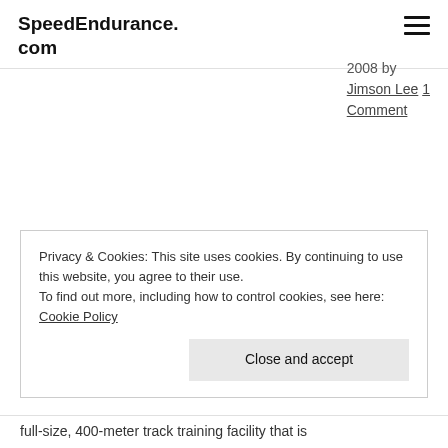SpeedEndurance.com
2008 by Jimson Lee 1 Comment
Privacy & Cookies: This site uses cookies. By continuing to use this website, you agree to their use.
To find out more, including how to control cookies, see here: Cookie Policy
Close and accept
full-size, 400-meter track training facility that is